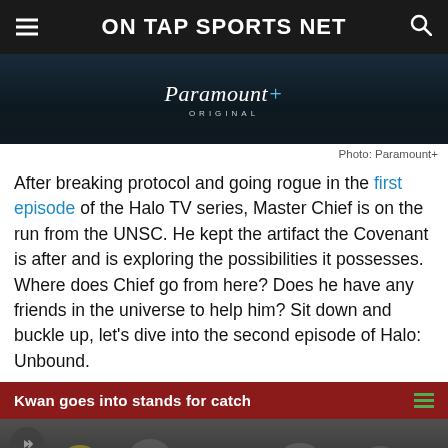ON TAP SPORTS NET
[Figure (photo): Paramount+ Original dark background banner image]
Photo: Paramount+
After breaking protocol and going rogue in the first episode of the Halo TV series, Master Chief is on the run from the UNSC. He kept the artifact the Covenant is after and is exploring the possibilities it possesses. Where does Chief go from here? Does he have any friends in the universe to help him? Sit down and buckle up, let's dive into the second episode of Halo: Unbound.
Kwan goes into stands for catch
[Figure (photo): Crowd/stands scene from Halo TV show]